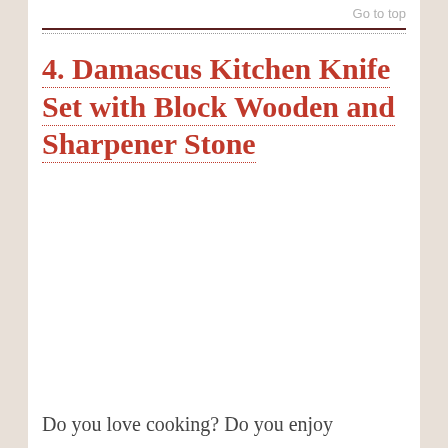Go to top
4. Damascus Kitchen Knife Set with Block Wooden and Sharpener Stone
Do you love cooking? Do you enjoy